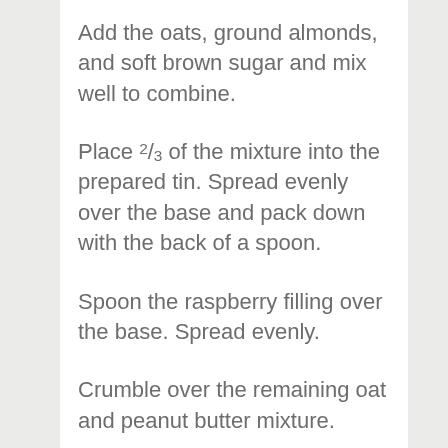Add the oats, ground almonds, and soft brown sugar and mix well to combine.
Place ⅔ of the mixture into the prepared tin. Spread evenly over the base and pack down with the back of a spoon.
Spoon the raspberry filling over the base. Spread evenly.
Crumble over the remaining oat and peanut butter mixture.
Bake in the preheated oven for 22 – 25 minutes.